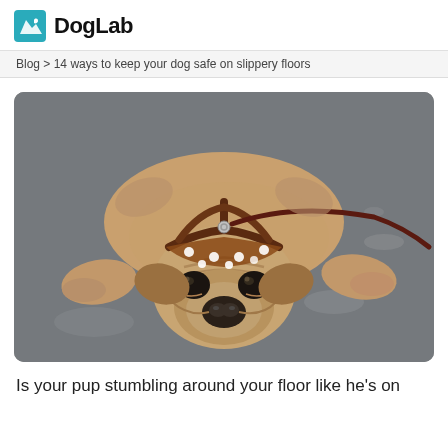DogLab
Blog > 14 ways to keep your dog safe on slippery floors
[Figure (photo): A pug dog lying flat on a grey floor wearing a brown leather harness with white polka dots and a dark leash, looking directly at the camera with a sorrowful expression.]
Is your pup stumbling around your floor like he's on